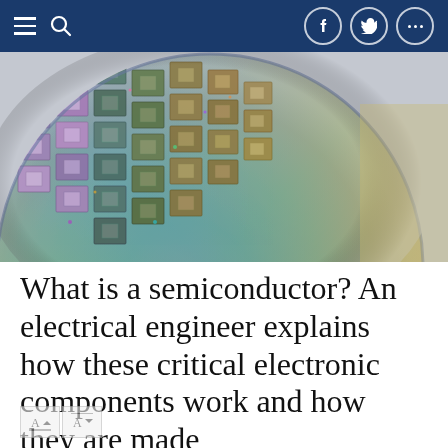Navigation bar with hamburger menu, search icon, and social media buttons (Facebook, Twitter, more)
[Figure (photo): Close-up photograph of a silicon semiconductor wafer showing rows of colorful integrated circuit chips with iridescent rainbow reflections]
What is a semiconductor? An electrical engineer explains how these critical electronic components work and how they are made